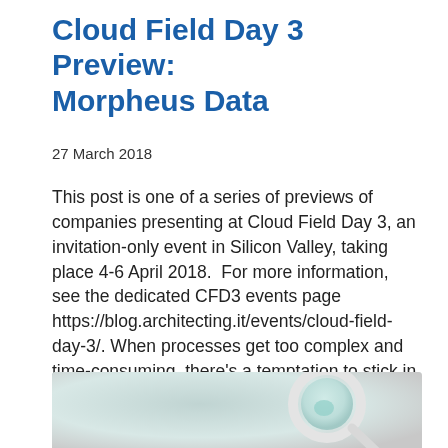Cloud Field Day 3 Preview: Morpheus Data
27 March 2018
This post is one of a series of previews of companies presenting at Cloud Field Day 3, an invitation-only event in Silicon Valley, taking place 4-6 April 2018.  For more information, see the dedicated CFD3 events page https://blog.architecting.it/events/cloud-field-day-3/. When processes get too complex and time-consuming, there's a temptation to stick in another layer of abstraction and…
[Figure (photo): Partial photo of a magnifying glass with a blurred grey and light green background, visible at the bottom of the page.]